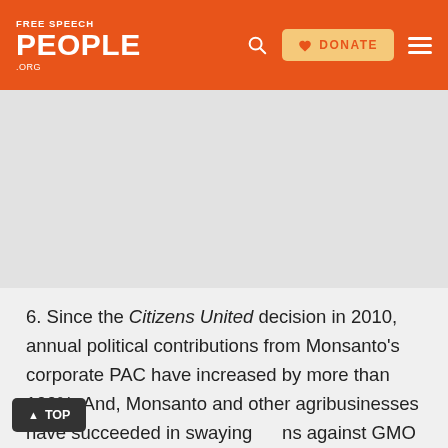FREE SPEECH FOR PEOPLE .ORG
6. Since the Citizens United decision in 2010, annual political contributions from Monsanto's corporate PAC have increased by more than 100%. And, Monsanto and other agribusinesses have succeeded in swaying opinions against GMO labeling legislation with their ...